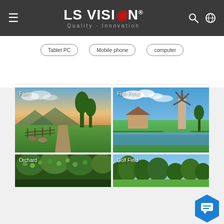[Figure (logo): LS VISION logo with tagline Quality · Innovation on dark header bar]
[Figure (infographic): Filter buttons: Tablet PC, Mobile phone, computer]
[Figure (photo): Grid of location photos: Farm (field with fence at sunset), Fish Pond (windmill beside water and green field), Orchard (fruit trees), Golf Field (trees)]